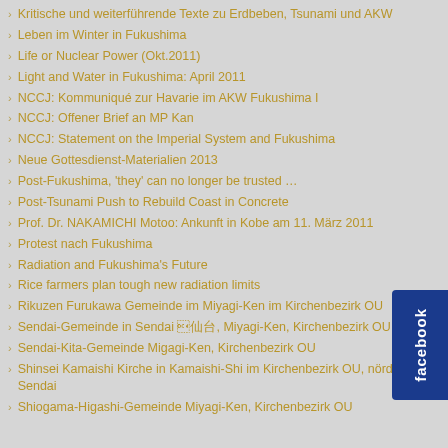Kritische und weiterführende Texte zu Erdbeben, Tsunami und AKW
Leben im Winter in Fukushima
Life or Nuclear Power (Okt.2011)
Light and Water in Fukushima: April 2011
NCCJ: Kommuniqué zur Havarie im AKW Fukushima I
NCCJ: Offener Brief an MP Kan
NCCJ: Statement on the Imperial System and Fukushima
Neue Gottesdienst-Materialien 2013
Post-Fukushima, 'they' can no longer be trusted …
Post-Tsunami Push to Rebuild Coast in Concrete
Prof. Dr. NAKAMICHI Motoo: Ankunft in Kobe am 11. März 2011
Protest nach Fukushima
Radiation and Fukushima's Future
Rice farmers plan tough new radiation limits
Rikuzen Furukawa Gemeinde im Miyagi-Ken im Kirchenbezirk OU
Sendai-Gemeinde in Sendai 仙台, Miyagi-Ken, Kirchenbezirk OU
Sendai-Kita-Gemeinde Migagi-Ken, Kirchenbezirk OU
Shinsei Kamaishi Kirche in Kamaishi-Shi im Kirchenbezirk OU, nördlich von Sendai
Shiogama-Higashi-Gemeinde Miyagi-Ken, Kirchenbezirk OU